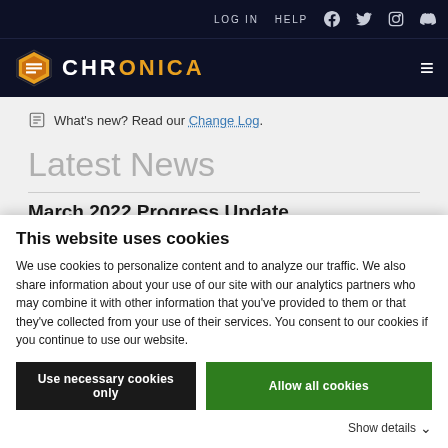LOG IN   HELP
[Figure (logo): Chronica logo with hexagon icon and text CHRONICA in white/orange]
What's new? Read our Change Log.
Latest News
March 2022 Progress Update
This website uses cookies
We use cookies to personalize content and to analyze our traffic. We also share information about your use of our site with our analytics partners who may combine it with other information that you've provided to them or that they've collected from your use of their services. You consent to our cookies if you continue to use our website.
Use necessary cookies only   Allow all cookies
Show details